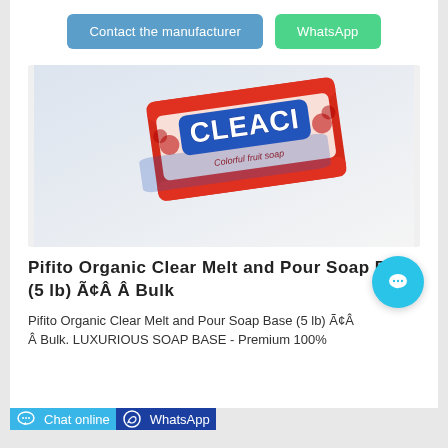Contact the manufacturer
WhatsApp
[Figure (photo): Product photo of a bar of Cleaci colorful fruit soap in red and white packaging with blue logo letters, photographed on white background with reflection.]
Pifito Organic Clear Melt and Pour Soap Base (5 lb) Ã¢Â Â Bulk
Pifito Organic Clear Melt and Pour Soap Base (5 lb) Ã¢Â Â Bulk. LUXURIOUS SOAP BASE - Premium 100%
Chat online
WhatsApp